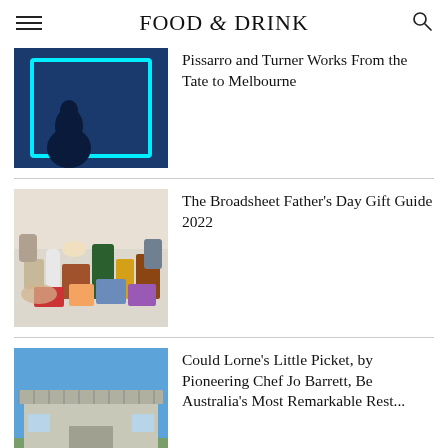FOOD & DRINK
[Figure (photo): Silhouette of a person in front of a glowing blue neon rectangular frame on a dark blue background]
Pissarro and Turner Works From the Tate to Melbourne
[Figure (photo): Assorted food and drink gift products arranged on a white background]
The Broadsheet Father's Day Gift Guide 2022
[Figure (photo): Exterior of a small house or café with a lattice roof, blue sky, and a ramp entrance]
Could Lorne's Little Picket, by Pioneering Chef Jo Barrett, Be Australia's Most Remarkable Rest...